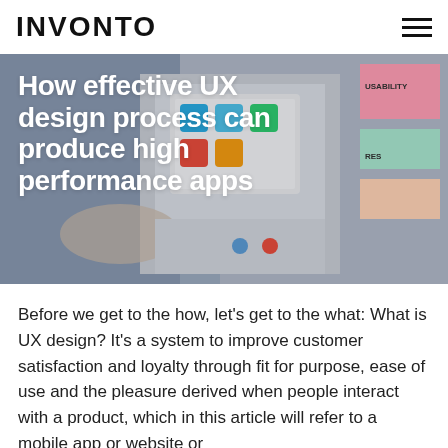INVONTO
[Figure (photo): Person working with UX design wireframes and sticky notes on a whiteboard, with colorful icons and 'USABILITY' label visible]
How effective UX design process can produce high performance apps
Before we get to the how, let’s get to the what: What is UX design? It’s a system to improve customer satisfaction and loyalty through fit for purpose, ease of use and the pleasure derived when people interact with a product, which in this article will refer to a mobile app or website or